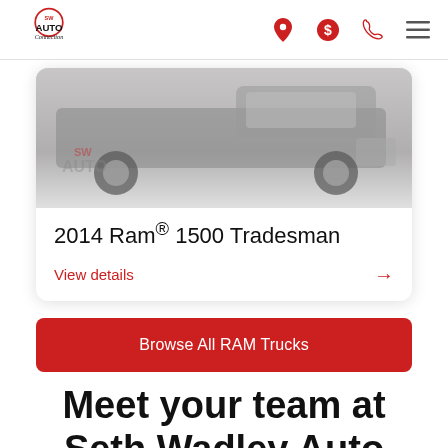SW Auto Connection
[Figure (photo): Photo of a 2014 Ram 1500 Tradesman truck, front/side view, with SW Auto Connection watermark logo]
2014 Ram® 1500 Tradesman
View details →
Browse All RAM Trucks
Meet your team at Seth Wadley Auto